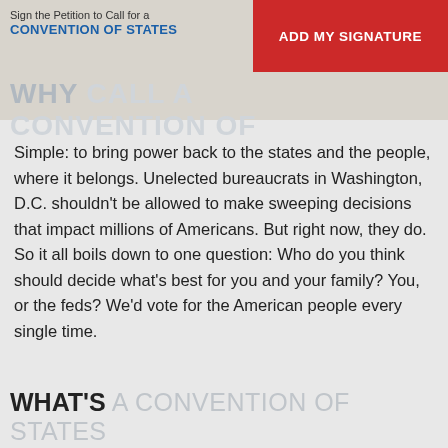Sign the Petition to Call for a CONVENTION OF STATES | ADD MY SIGNATURE
WHY CALL A CONVENTION OF STATES?
Simple: to bring power back to the states and the people, where it belongs. Unelected bureaucrats in Washington, D.C. shouldn't be allowed to make sweeping decisions that impact millions of Americans. But right now, they do. So it all boils down to one question: Who do you think should decide what's best for you and your family? You, or the feds? We'd vote for the American people every single time.
WHAT'S A CONVENTION OF STATES